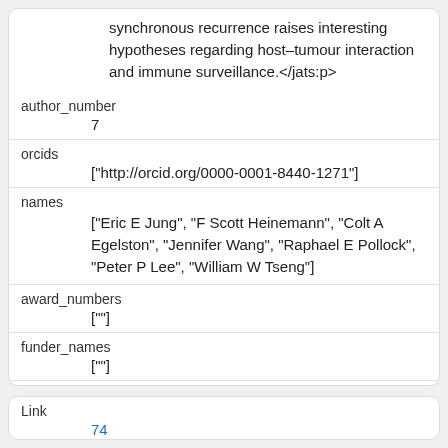synchronous recurrence raises interesting hypotheses regarding host–tumour interaction and immune surveillance.</jats:p>
author_number
7
orcids
["http://orcid.org/0000-0001-8440-1271"]
names
["Eric E Jung", "F Scott Heinemann", "Colt A Egelston", "Jennifer Wang", "Raphael E Pollock", "Peter P Lee", "William W Tseng"]
award_numbers
[""]
funder_names
[""]
funder_dois
[""]
Link
74